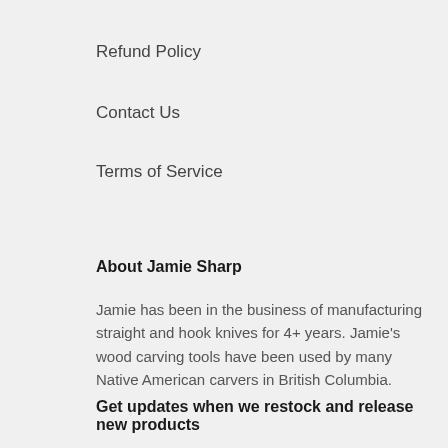Refund Policy
Contact Us
Terms of Service
About Jamie Sharp
Jamie has been in the business of manufacturing straight and hook knives for 4+ years. Jamie's wood carving tools have been used by many Native American carvers in British Columbia.
Get updates when we restock and release new products